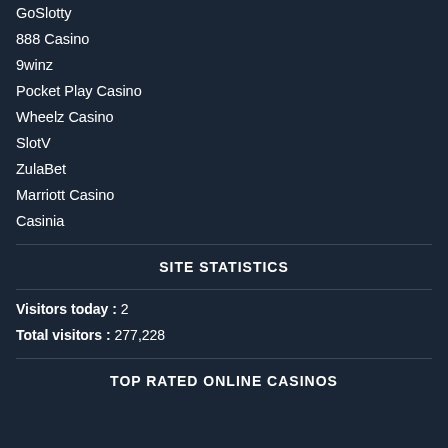GoSlotty
888 Casino
9winz
Pocket Play Casino
Wheelz Casino
SlotV
ZulaBet
Marriott Casino
Casinia
SITE STATISTICS
Visitors today : 2
Total visitors : 277,228
TOP RATED ONLINE CASINOS